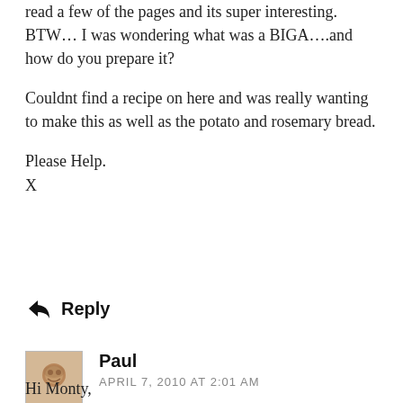read a few of the pages and its super interesting.
BTW... I was wondering what was a BIGA....and how do you prepare it?
Couldnt find a recipe on here and was really wanting to make this as well as the potato and rosemary bread.
Please Help.
X
Reply
Paul
APRIL 7, 2010 AT 2:01 AM
Hi Monty,